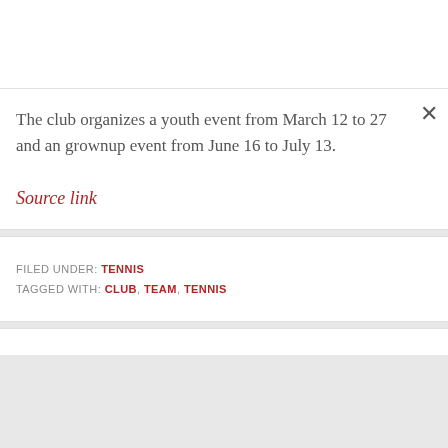The club organizes a youth event from March 12 to 27 and an grownup event from June 16 to July 13.
Source link
FILED UNDER: TENNIS
TAGGED WITH: CLUB, TEAM, TENNIS